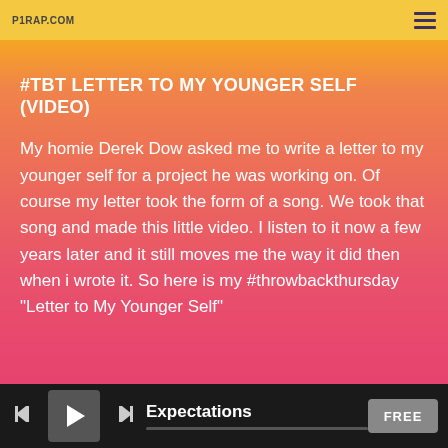P1RAP.COM
#TBT LETTER TO MY YOUNGER SELF (VIDEO)
My homie Derek Dow asked me to write a letter to my younger self for a project he was working on. Of course my letter took the form of a song.  We took that song and made this little video.  I listen to it now a few years later and it still moves me the way it did then when i wrote it. So here is my #throwbackthursday "Letter to My Younger Self"
Expectations  FREE